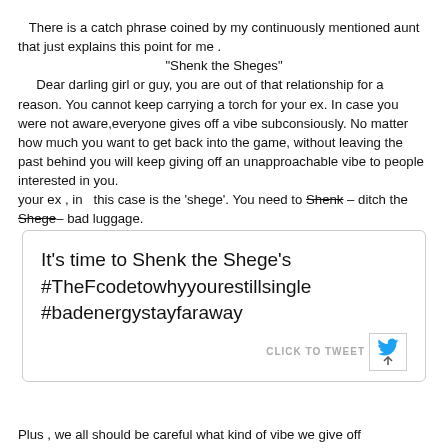There is a catch phrase coined by my continuously mentioned aunt that just explains this point for me . "Shenk the Sheges" Dear darling girl or guy, you are out of that relationship for a reason. You cannot keep carrying a torch for your ex. In case you were not aware,everyone gives off a vibe subconsiously. No matter how much you want to get back into the game, without leaving the past behind you will keep giving off an unapproachable vibe to people interested in you. your ex , in  this case is the 'shege'. You need to Shenk – ditch the Shege– bad luggage.
[Figure (screenshot): Tweet box with text: It's time to Shenk the Shege's #TheFcodetowhyyourestillsingle #badenergystayfaraway, with a CLICK TO TWEET button and Twitter bird icon]
Plus , we all should be careful what kind of vibe we give off